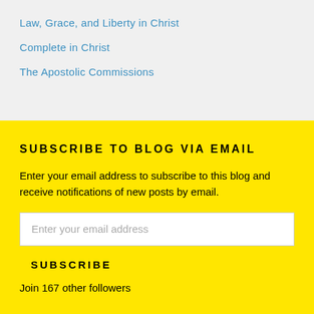Law, Grace, and Liberty in Christ
Complete in Christ
The Apostolic Commissions
SUBSCRIBE TO BLOG VIA EMAIL
Enter your email address to subscribe to this blog and receive notifications of new posts by email.
Enter your email address
SUBSCRIBE
Join 167 other followers